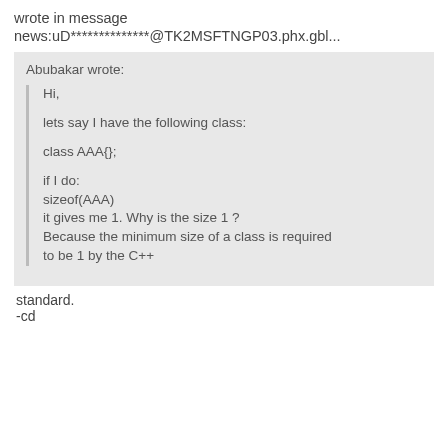wrote in message
news:uD**************@TK2MSFTNGP03.phx.gbl...
Abubakar wrote:
Hi,
lets say I have the following class:

class AAA{};

if I do:
sizeof(AAA)
it gives me 1. Why is the size 1 ?
Because the minimum size of a class is required
to be 1 by the C++
standard.
-cd